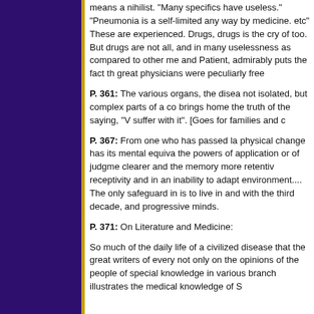means a nihilist. "Many specifics have useless." "Pneumonia is a self-limited any way by medicine. etc" These are experienced. Drugs, drugs is the cry of too. But drugs are not all, and in many uselessness as compared to other me and Patient, admirably puts the fact th great physicians were peculiarly free
P. 361: The various organs, the disea not isolated, but complex parts of a co brings home the truth of the saying, " suffer with it". [Goes for families and c
P. 367: From one who has passed la physical change has its mental equiva the powers of application or of judgme clearer and the memory more retentiv receptivity and in an inability to adapt environment.... The only safeguard in is to live in and with the third decade, and progressive minds.
P. 371: On Literature and Medicine:
So much of the daily life of a civilized disease that the great writers of every not only on the opinions of the people of special knowledge in various branch illustrates the medical knowledge of S